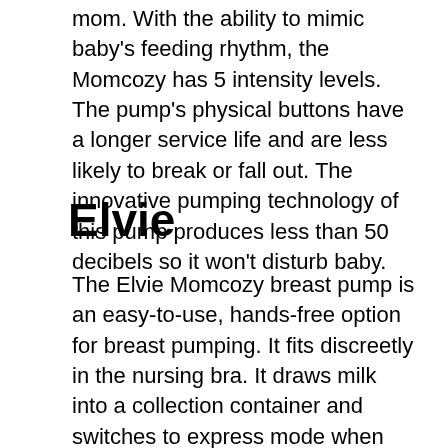mom. With the ability to mimic baby's feeding rhythm, the Momcozy has 5 intensity levels. The pump's physical buttons have a longer service life and are less likely to break or fall out. The innovative pumping technology of this pump produces less than 50 decibels so it won't disturb baby.
Elvie
The Elvie Momcozy breast pump is an easy-to-use, hands-free option for breast pumping. It fits discreetly in the nursing bra. It draws milk into a collection container and switches to express mode when let-down kicks off. The pump shuts off automatically when the collection bottle is full. The Elvie